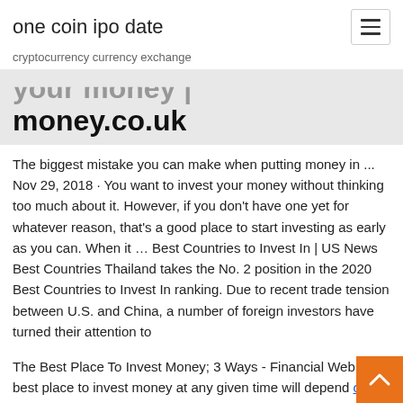one coin ipo date
cryptocurrency currency exchange
your money | money.co.uk
The biggest mistake you can make when putting money in ... Nov 29, 2018 · You want to invest your money without thinking too much about it. However, if you don't have one yet for whatever reason, that's a good place to start investing as early as you can. When it ... Best Countries to Invest In | US News Best Countries Thailand takes the No. 2 position in the 2020 Best Countries to Invest In ranking. Due to recent trade tension between U.S. and China, a number of foreign investors have turned their attention to
The Best Place To Invest Money; 3 Ways - Financial Web The best place to invest money at any given time will depend on your financial goals. This includes both how long you want to invest and how much risk you are willing to take on. Typically